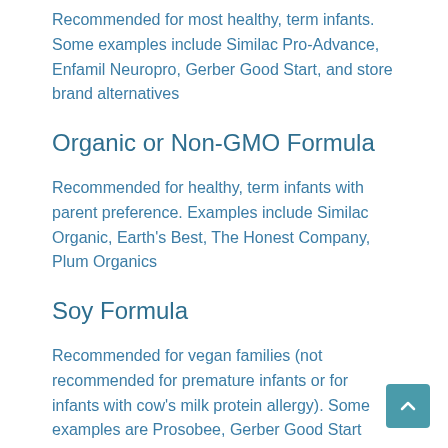Recommended for most healthy, term infants. Some examples include Similac Pro-Advance, Enfamil Neuropro, Gerber Good Start, and store brand alternatives
Organic or Non-GMO Formula
Recommended for healthy, term infants with parent preference. Examples include Similac Organic, Earth's Best, The Honest Company, Plum Organics
Soy Formula
Recommended for vegan families (not recommended for premature infants or for infants with cow's milk protein allergy). Some examples are Prosobee, Gerber Good Start Soy, and Isomil.
Gentle Formulas
Recommended for healthy infants who may not tolerate